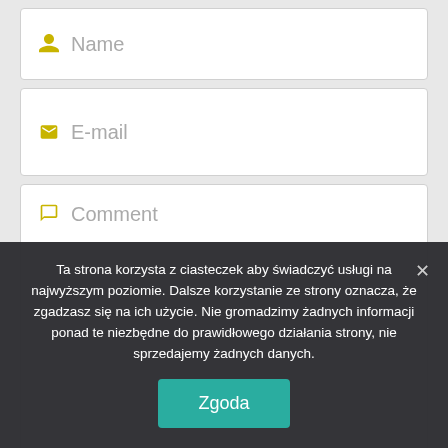[Figure (screenshot): Web form with Name, E-mail, and Comment input fields with yellow icons, shown on a light gray background]
Ta strona korzysta z ciasteczek aby świadczyć usługi na najwyższym poziomie. Dalsze korzystanie ze strony oznacza, że zgadzasz się na ich użycie. Nie gromadzimy żadnych informacji ponad te niezbędne do prawidłowego działania strony, nie sprzedajemy żadnych danych.
Zgoda